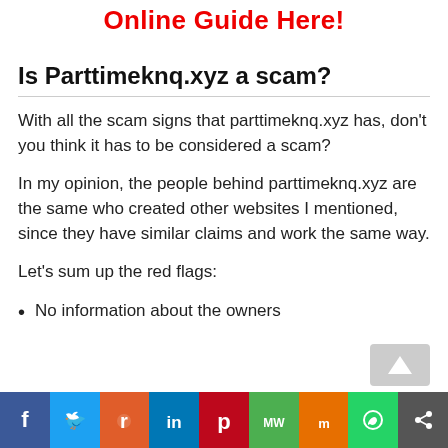Online Guide Here!
Is Parttimeknq.xyz a scam?
With all the scam signs that parttimeknq.xyz has, don't you think it has to be considered a scam?
In my opinion, the people behind parttimeknq.xyz are the same who created other websites I mentioned, since they have similar claims and work the same way.
Let's sum up the red flags:
No information about the owners
[Figure (infographic): Social sharing bar with icons: Facebook (blue), Twitter (blue), Reddit (orange-red), LinkedIn (blue), Pinterest (red), MakeWebsite (green), Mix (orange), WhatsApp (green), Share (dark gray)]